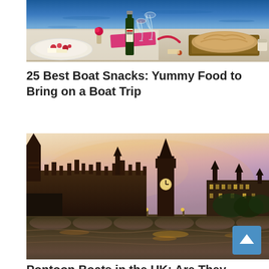[Figure (photo): Outdoor dining table by water with wine bottle, glasses, plate of food, bread on cutting board, and pink cloth]
25 Best Boat Snacks: Yummy Food to Bring on a Boat Trip
[Figure (photo): London skyline at dusk showing Houses of Parliament, Big Ben, and Westminster Bridge reflected in the Thames, with a scroll-to-top button overlay]
Pontoon Boats in the UK: Are They Legal and...